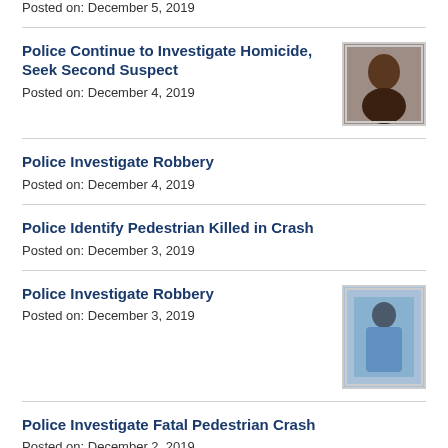Posted on: December 5, 2019
Police Continue to Investigate Homicide, Seek Second Suspect
Posted on: December 4, 2019
[Figure (photo): Mugshot photo of a suspect]
Police Investigate Robbery
Posted on: December 4, 2019
Police Identify Pedestrian Killed in Crash
Posted on: December 3, 2019
Police Investigate Robbery
Posted on: December 3, 2019
[Figure (photo): Surveillance photo of a suspect in blue clothing]
Police Investigate Fatal Pedestrian Crash
Posted on: December 2, 2019
Police Seek Wanted Man
[Figure (photo): Partial photo of a suspect, cut off at bottom of page]